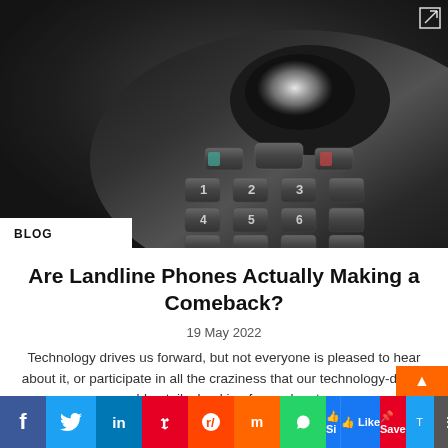[Figure (photo): Close-up photograph of a dark/black cordless landline phone with numeric keypad, call and end buttons, and a bright light reflection on the display area. Dark grey background.]
BLOG
Are Landline Phones Actually Making a Comeback?
19 May 2022
Technology drives us forward, but not everyone is pleased to hear about it, or participate in all the craziness that our technology-driven world entails. Looking forward, not…